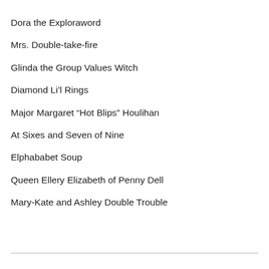Dora the Exploraword
Mrs. Double-take-fire
Glinda the Group Values Witch
Diamond Li’l Rings
Major Margaret “Hot Blips” Houlihan
At Sixes and Seven of Nine
Elphababet Soup
Queen Ellery Elizabeth of Penny Dell
Mary-Kate and Ashley Double Trouble